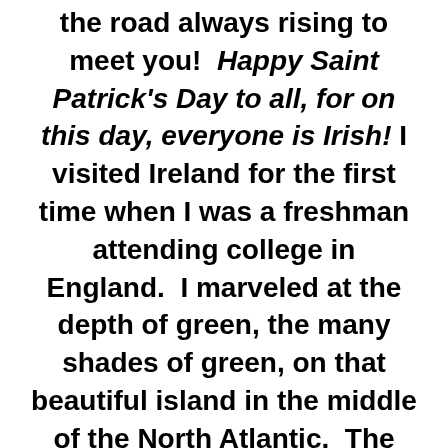the road always rising to meet you!  Happy Saint Patrick's Day to all, for on this day, everyone is Irish!  I visited Ireland for the first time when I was a freshman attending college in England.  I marveled at the depth of green, the many shades of green, on that beautiful island in the middle of the North Atlantic.  The people are warm and friendly, as they tend to like American citizens a